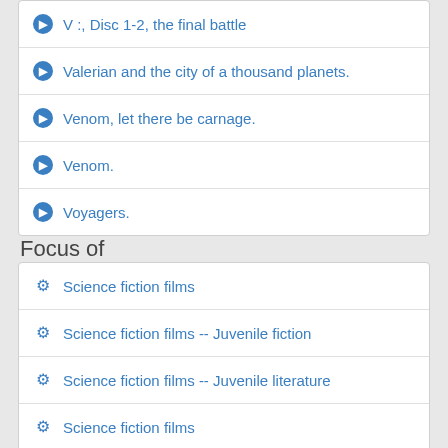V :, Disc 1-2, the final battle
Valerian and the city of a thousand planets.
Venom, let there be carnage.
Venom.
Voyagers.
Focus of
Science fiction films
Science fiction films -- Juvenile fiction
Science fiction films -- Juvenile literature
Science fiction films
Science fiction films
Science fiction films
Science fiction films